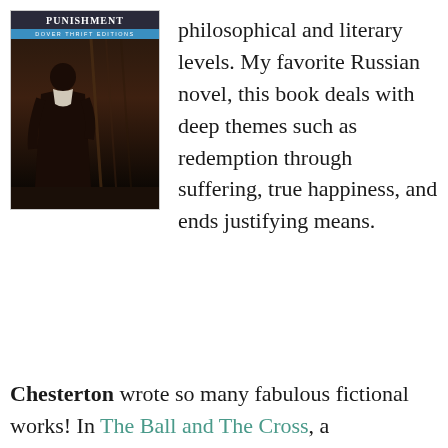[Figure (photo): Book cover of Crime and Punishment, Dover Thrift Editions, showing a figure in dark clothing on a dark staircase background]
philosophical and literary levels. My favorite Russian novel, this book deals with deep themes such as redemption through suffering, true happiness, and ends justifying means.
Chesterton wrote so many fabulous fictional works! In The Ball and The Cross, a